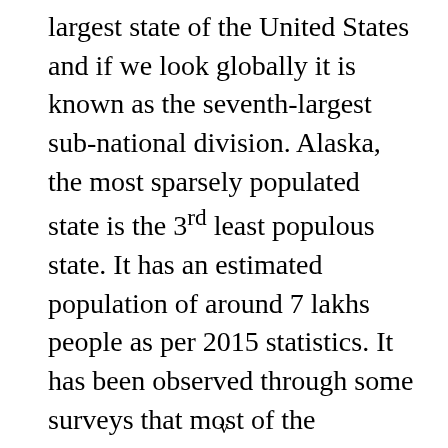largest state of the United States and if we look globally it is known as the seventh-largest sub-national division. Alaska, the most sparsely populated state is the 3rd least populous state. It has an estimated population of around 7 lakhs people as per 2015 statistics. It has been observed through some surveys that most of the residents of Alaska prefer to live in the anchored metropolitan area. Before the arrival of Europeans, Alaska was mainly populated by various indigenous individuals for many thousand years.
v